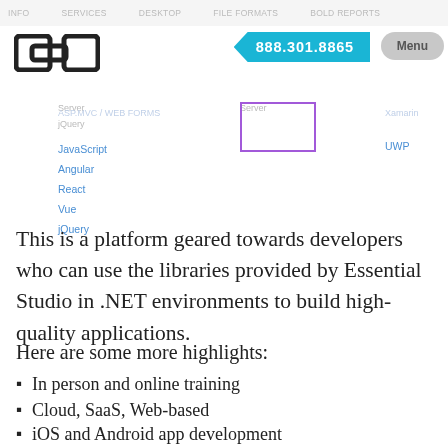[Figure (screenshot): Website header with logo (CH box icon), phone number badge 888.301.8865 in teal, and grey Menu pill button]
[Figure (screenshot): Navigation dropdown showing links: JavaScript, Angular, React, Vue, jQuery on left; a purple-bordered box in center; UWP link on right]
This is a platform geared towards developers who can use the libraries provided by Essential Studio in .NET environments to build high-quality applications.
Here are some more highlights:
In person and online training
Cloud, SaaS, Web-based
iOS and Android app development
Collaboration tools
App management